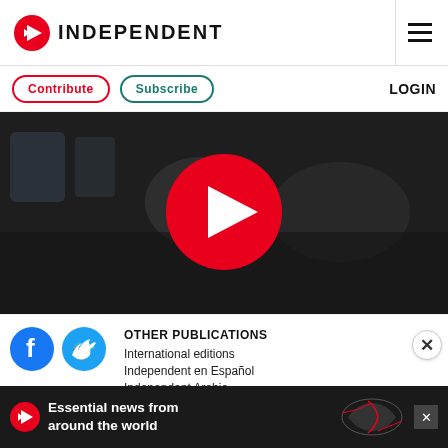INDEPENDENT
Contribute  Subscribe  LOGIN
[Figure (screenshot): Video thumbnail showing two men reclining in aircraft seats with a large red play button in the center]
[Figure (infographic): Social media share icons for Facebook and Twitter]
OTHER PUBLICATIONS
International editions
Independent en Español
Independent Arabia
Essential news from around the world